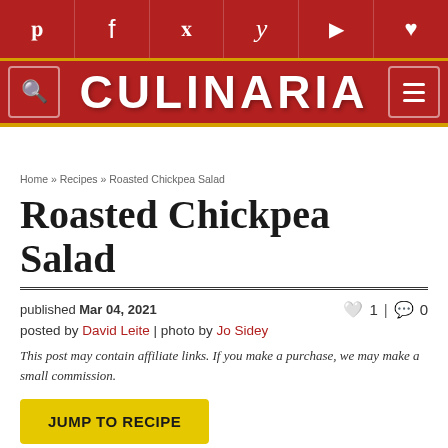Pinterest | Facebook | Twitter | Y | Flipboard | Heart | Search | CULINARIA | Menu
Home » Recipes » Roasted Chickpea Salad
Roasted Chickpea Salad
published Mar 04, 2021  ♥ 1 | 💬 0
posted by David Leite | photo by Jo Sidey
This post may contain affiliate links. If you make a purchase, we may make a small commission.
JUMP TO RECIPE
This roasted chickpea salad gets glammed up with